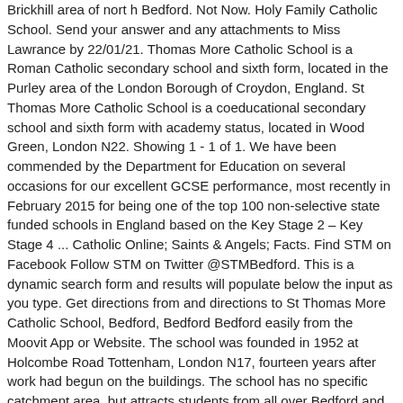Brickhill area of north Bedford. Not Now. Holy Family Catholic School. Send your answer and any attachments to Miss Lawrance by 22/01/21. Thomas More Catholic School is a Roman Catholic secondary school and sixth form, located in the Purley area of the London Borough of Croydon, England. St Thomas More Catholic School is a coeducational secondary school and sixth form with academy status, located in Wood Green, London N22. Showing 1 - 1 of 1. We have been commended by the Department for Education on several occasions for our excellent GCSE performance, most recently in February 2015 for being one of the top 100 non-selective state funded schools in England based on the Key Stage 2 – Key Stage 4 ... Catholic Online; Saints & Angels; Facts. Find STM on Facebook Follow STM on Twitter @STMBedford. This is a dynamic search form and results will populate below the input as you type. Get directions from and directions to St Thomas More Catholic School, Bedford, Bedford Bedford easily from the Moovit App or Website. The school was founded in 1952 at Holcombe Road Tottenham, London N17, fourteen years after work had begun on the buildings. The school has no specific catchment area, but attracts students from all over Bedford and the surrounding villages. Related Pages. Telephone: 020 8693 5070; Email: dulwich@rcaos.org.uk; Fr Bartłomiej Dudek, Parish Priest Fr Peter Ehinmiro, Assistant Priest Home; Services; … a more positive unity in accordance with you will. St Thomas More Catholic Elementary School is a Canadian School based in London, Ontario. … Saint Albert the Great Catholic Church. A message from the head of Science Mr